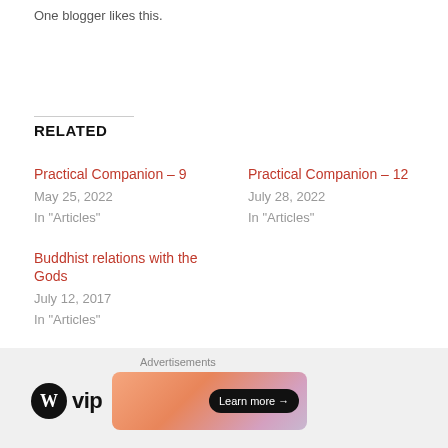One blogger likes this.
RELATED
Practical Companion – 9
May 25, 2022
In "Articles"
Practical Companion – 12
July 28, 2022
In "Articles"
Buddhist relations with the Gods
July 12, 2017
In "Articles"
Advertisements
[Figure (logo): WordPress VIP logo and advertisement banner with 'Learn more' button]